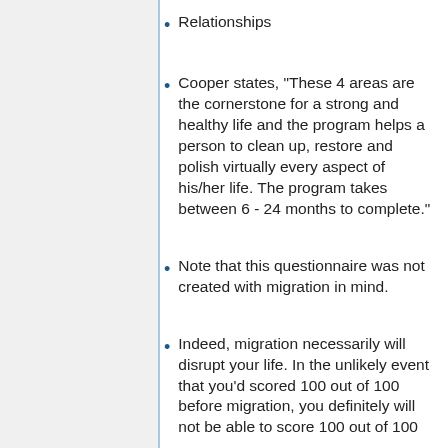Relationships
Cooper states, "These 4 areas are the cornerstone for a strong and healthy life and the program helps a person to clean up, restore and polish virtually every aspect of his/her life. The program takes between 6 - 24 months to complete."
Note that this questionnaire was not created with migration in mind.
Indeed, migration necessarily will disrupt your life. In the unlikely event that you'd scored 100 out of 100 before migration, you definitely will not be able to score 100 out of 100